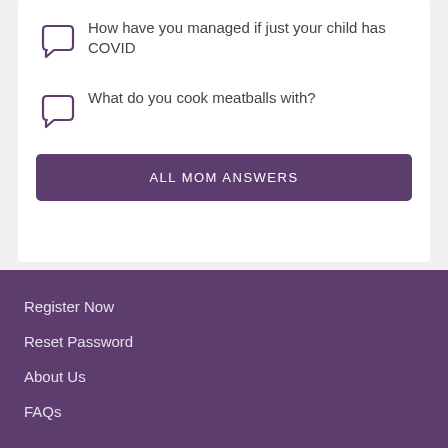How have you managed if just your child has COVID
What do you cook meatballs with?
ALL MOM ANSWERS
Register Now
Reset Password
About Us
FAQs